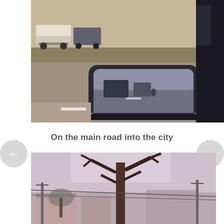[Figure (photo): A car side-view mirror reflecting traffic on a road, with trucks and cars visible in the background scene. Daytime outdoor urban road scene.]
On the main road into the city
[Figure (photo): Street scene with a bare tree in the foreground, power lines, and buildings in the background under an overcast sky.]